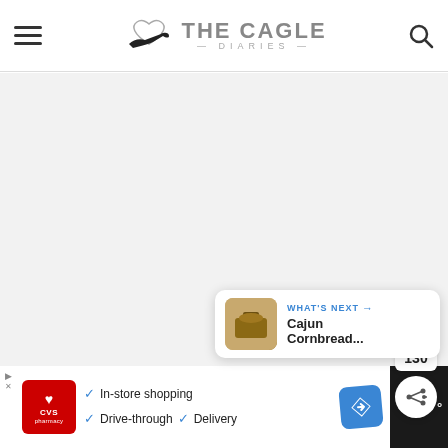THE CAGLE DIARIES
[Figure (other): Large light gray content area (main article body placeholder)]
130
WHAT'S NEXT → Cajun Cornbread...
[Figure (other): CVS pharmacy advertisement banner with In-store shopping, Drive-through, and Delivery options]